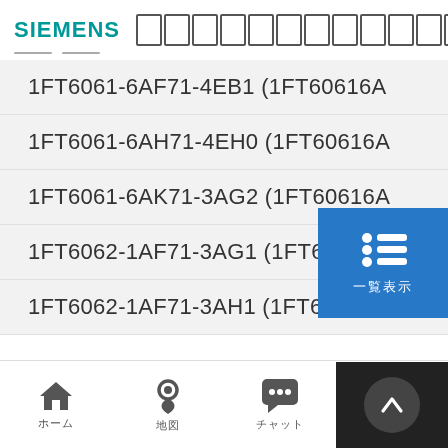SIEMENS [Japanese text]
1FT6061-6AF71-4EB1 (1FT60616A…)
1FT6061-6AH71-4EH0 (1FT60616A…)
1FT6061-6AK71-3AG2 (1FT60616A…)
1FT6062-1AF71-3AG1 (1FT60621A…)
1FT6062-1AF71-3AH1 (1FT60621A…)
[Figure (screenshot): Blue popup overlay with list icon and Japanese text]
Home / Location / Chat navigation bar with dark panel and up arrow